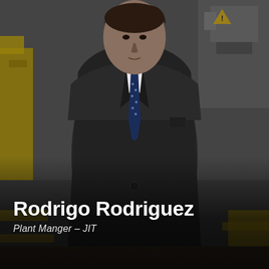[Figure (photo): A man in a dark business suit and navy blue polka-dot tie stands in an industrial/manufacturing environment with yellow machinery and equipment visible in the background. He is facing slightly to the side with hands behind his back.]
Rodrigo Rodriguez
Plant Manger – JIT